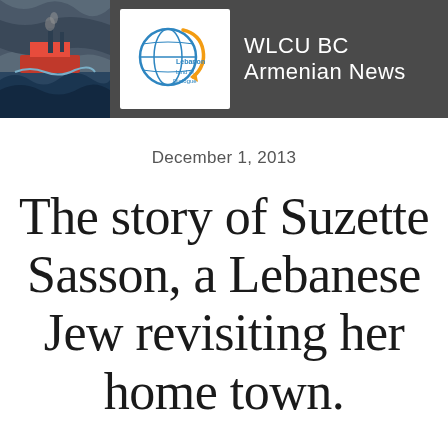WLCU BC  Armenian News
December 1, 2013
The story of Suzette Sasson, a Lebanese Jew revisiting her home town.